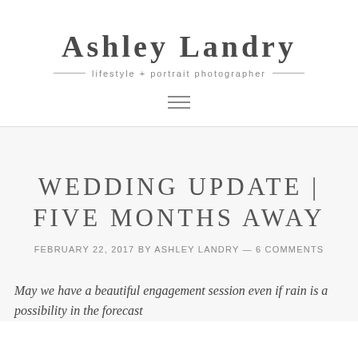Ashley Landry
lifestyle + portrait photographer
WEDDING UPDATE | FIVE MONTHS AWAY
FEBRUARY 22, 2017 by ASHLEY LANDRY — 6 COMMENTS
May we have a beautiful engagement session even if rain is a possibility in the forecast